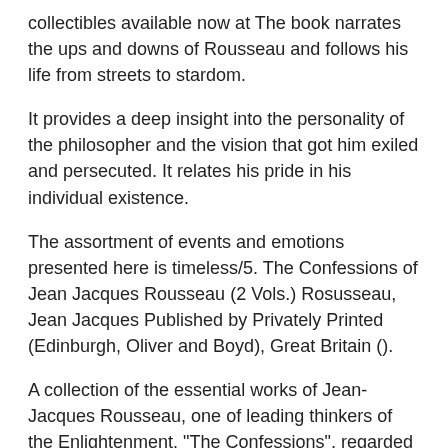collectibles available now at The book narrates the ups and downs of Rousseau and follows his life from streets to stardom.
It provides a deep insight into the personality of the philosopher and the vision that got him exiled and persecuted. It relates his pride in his individual existence.
The assortment of events and emotions presented here is timeless/5. The Confessions of Jean Jacques Rousseau (2 Vols.) Rosusseau, Jean Jacques Published by Privately Printed (Edinburgh, Oliver and Boyd), Great Britain ().
A collection of the essential works of Jean-Jacques Rousseau, one of leading thinkers of the Enlightenment. "The Confessions", regarded as the first modern autobiography, combines a retelling of the first fifty three years of his eventful with life, with astute.
Confessions is an autobiographical book by Jean-Jacques